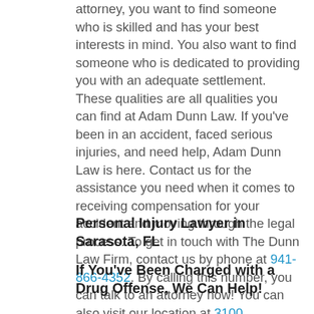attorney, you want to find someone who is skilled and has your best interests in mind. You also want to find someone who is dedicated to providing you with an adequate settlement. These qualities are all qualities you can find at Adam Dunn Law. If you've been in an accident, faced serious injuries, and need help, Adam Dunn Law is here. Contact us for the assistance you need when it comes to receiving compensation for your accident and moving through the legal process. To get in touch with The Dunn Law Firm, contact us by phone at 941-866-4352. By calling this number, you can talk to an attorney now! You can also visit our location at 3100 Southgate Circle Suite A in Sarasota.
Personal Injury Lawyer in Sarasota, FL
If You've Been Charged with a Drug Offense, We Can Help!